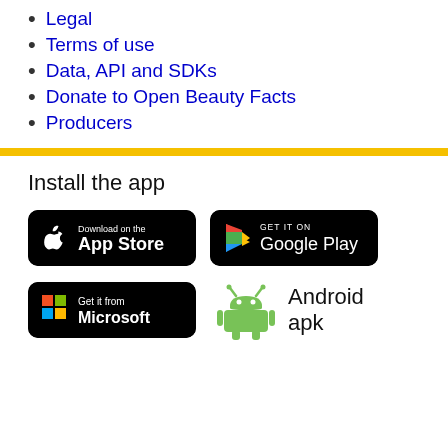Legal
Terms of use
Data, API and SDKs
Donate to Open Beauty Facts
Producers
Install the app
[Figure (logo): Download on the App Store badge (black, rounded rectangle)]
[Figure (logo): GET IT ON Google Play badge (black, rounded rectangle)]
[Figure (logo): Get it from Microsoft badge (black, rounded rectangle)]
[Figure (logo): Android apk with green Android robot icon and text 'Android apk']